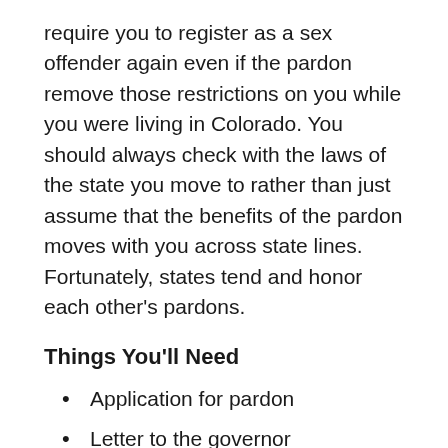require you to register as a sex offender again even if the pardon remove those restrictions on you while you were living in Colorado. You should always check with the laws of the state you move to rather than just assume that the benefits of the pardon moves with you across state lines. Fortunately, states tend and honor each other's pardons.
Things You'll Need
Application for pardon
Letter to the governor
Current Performance Review Summary
Admission Data Summary and Diagnostic Summary